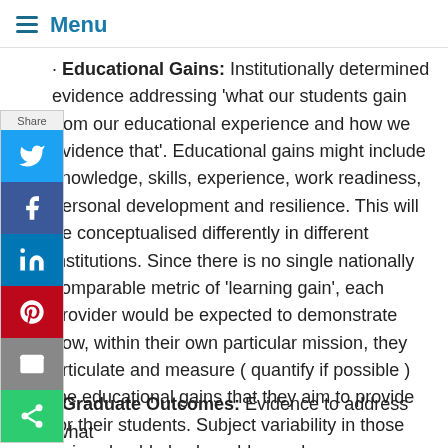Menu
Educational Gains: Institutionally determined evidence addressing 'what our students gain from our educational experience and how we evidence that'. Educational gains might include knowledge, skills, experience, work readiness, personal development and resilience. This will be conceptualised differently in different institutions. Since there is no single nationally comparable metric of 'learning gain', each provider would be expected to demonstrate how, within their own particular mission, they articulate and measure ( quantify if possible ) the educational gains that they aim to provide for their students. Subject variability in those gains should also be addressed.
Graduate Outcomes: Evidence to address 'what